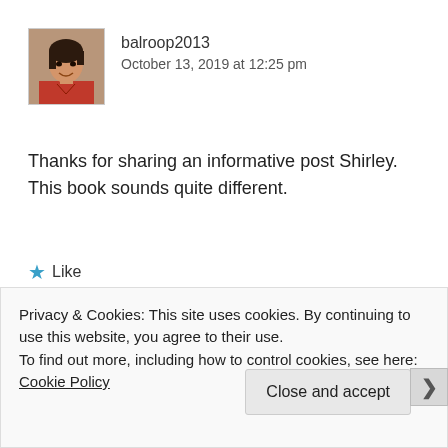[Figure (photo): Profile photo of user balroop2013, showing a woman with dark hair, wearing a red top]
balroop2013
October 13, 2019 at 12:25 pm
Thanks for sharing an informative post Shirley. This book sounds quite different.
★ Like
Reply ↓
Privacy & Cookies: This site uses cookies. By continuing to use this website, you agree to their use.
To find out more, including how to control cookies, see here: Cookie Policy
Close and accept